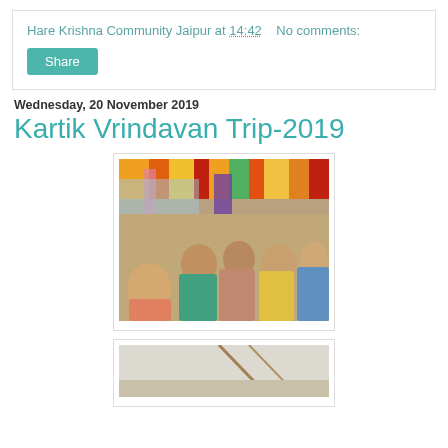Hare Krishna Community Jaipur at 14:42    No comments:
Share
Wednesday, 20 November 2019
Kartik Vrindavan Trip-2019
[Figure (photo): Group of devotees sitting inside a colorfully decorated tent or vehicle with orange, red, green and yellow fabric overhead, during Kartik Vrindavan trip 2019]
[Figure (photo): Partial view of another photo from the Kartik Vrindavan trip, showing a light background with some elements visible at the bottom edge]